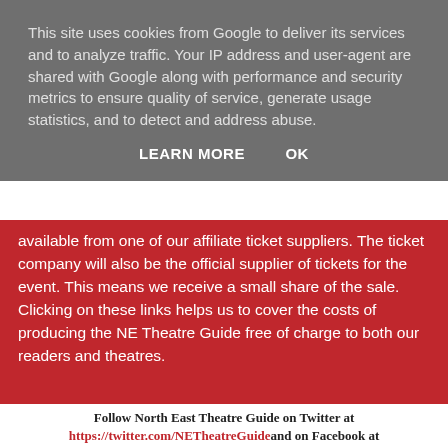This site uses cookies from Google to deliver its services and to analyze traffic. Your IP address and user-agent are shared with Google along with performance and security metrics to ensure quality of service, generate usage statistics, and to detect and address abuse.
LEARN MORE   OK
available from one of our affiliate ticket suppliers. The ticket company will also be the official supplier of tickets for the event. This means we receive a small share of the sale. Clicking on these links helps us to cover the costs of producing the NE Theatre Guide free of charge to both our readers and theatres.
27/05/2015
Preview: The Pirates of Penzance at Newcastle Tyne Theatre
Follow North East Theatre Guide on Twitter at https://twitter.com/NETheatreGuide and on Facebook at